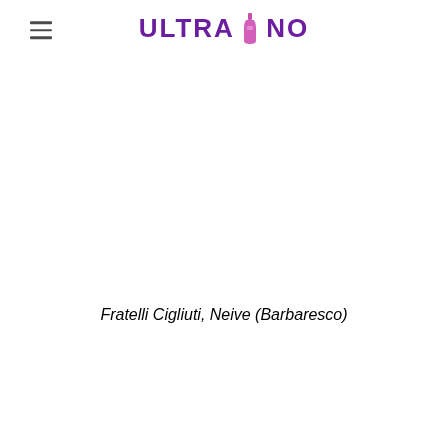ULTRAVINO
Fratelli Cigliuti, Neive (Barbaresco)